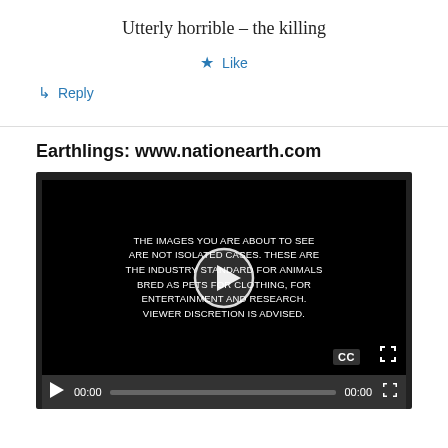Utterly horrible – the killing
★ Like
↳ Reply
Earthlings: www.nationearth.com
[Figure (screenshot): Embedded video player showing a black screen with white text: 'THE IMAGES YOU ARE ABOUT TO SEE ARE NOT ISOLATED CASES. THESE ARE THE INDUSTRY STANDARD FOR ANIMALS BRED AS PETS FOR CLOTHING, FOR ENTERTAINMENT AND RESEARCH. VIEWER DISCRETION IS ADVISED.' A circular play button overlay appears in the center. Video controls at the bottom show play button, 00:00 timecodes, a progress bar, and fullscreen button.]